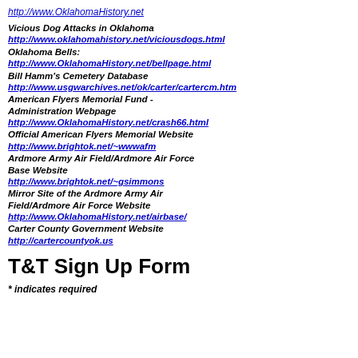http://www.OklahomaHistory.net
Vicious Dog Attacks in Oklahoma
http://www.oklahomahistory.net/viciousdogs.html
Oklahoma Bells:
http://www.OklahomaHistory.net/bellpage.html
Bill Hamm's Cemetery Database
http://www.usgwarchives.net/ok/carter/cartercm.htm
American Flyers Memorial Fund - Administration Webpage
http://www.OklahomaHistory.net/crash66.html
Official American Flyers Memorial Website
http://www.brightok.net/~wwwafm
Ardmore Army Air Field/Ardmore Air Force Base Website
http://www.brightok.net/~gsimmons
Mirror Site of the Ardmore Army Air Field/Ardmore Air Force Website
http://www.OklahomaHistory.net/airbase/
Carter County Government Website
http://cartercountyok.us
T&T Sign Up Form
* indicates required